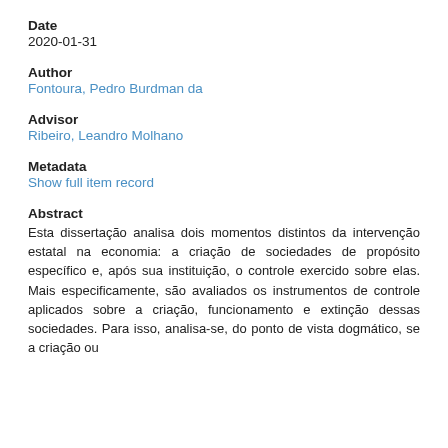Date
2020-01-31
Author
Fontoura, Pedro Burdman da
Advisor
Ribeiro, Leandro Molhano
Metadata
Show full item record
Abstract
Esta dissertação analisa dois momentos distintos da intervenção estatal na economia: a criação de sociedades de propósito específico e, após sua instituição, o controle exercido sobre elas. Mais especificamente, são avaliados os instrumentos de controle aplicados sobre a criação, funcionamento e extinção dessas sociedades. Para isso, analisa-se, do ponto de vista dogmático, se a criação ou